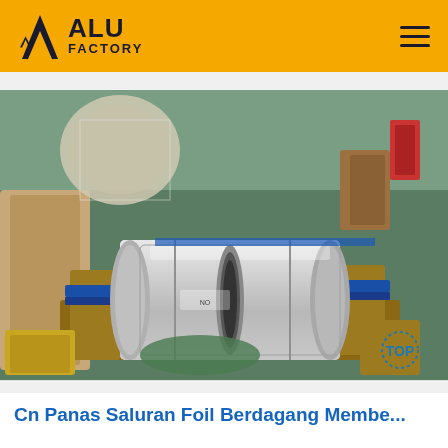ALU FACTORY
[Figure (photo): Photo of aluminum foil rolls in a factory/warehouse setting. Large cylindrical rolls of shiny aluminum foil are seen on wooden supports, with packaging materials and a teal/green floor visible in the background. A 'TOP' watermark badge appears in the bottom-right corner of the image.]
Cn Panas Saluran Foil Berdagang Membe...